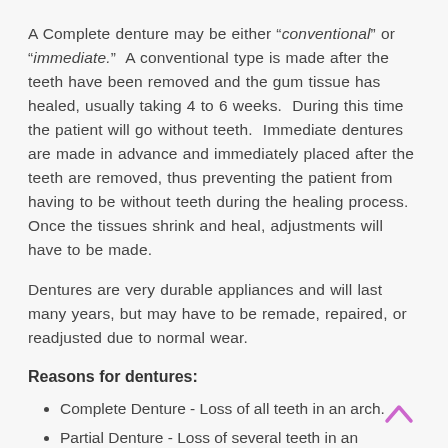A Complete denture may be either "conventional" or "immediate." A conventional type is made after the teeth have been removed and the gum tissue has healed, usually taking 4 to 6 weeks. During this time the patient will go without teeth. Immediate dentures are made in advance and immediately placed after the teeth are removed, thus preventing the patient from having to be without teeth during the healing process. Once the tissues shrink and heal, adjustments will have to be made.
Dentures are very durable appliances and will last many years, but may have to be remade, repaired, or readjusted due to normal wear.
Reasons for dentures:
Complete Denture - Loss of all teeth in an arch.
Partial Denture - Loss of several teeth in an